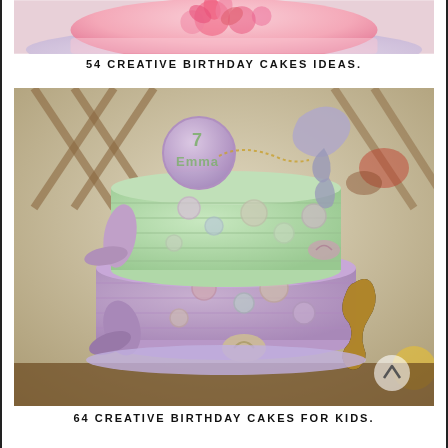[Figure (photo): Top portion of a pink birthday cake with floral decorations, partially cropped]
54 CREATIVE BIRTHDAY CAKES IDEAS.
[Figure (photo): A two-tier mermaid-themed birthday cake decorated in mint green and lavender, with mermaid tails, seashells, bubbles, and a seahorse. A disc topper reads '7 Emma'. The cake sits on a purple/blue cake board. Background is blurred with a wooden trellis and colorful objects.]
64 CREATIVE BIRTHDAY CAKES FOR KIDS.